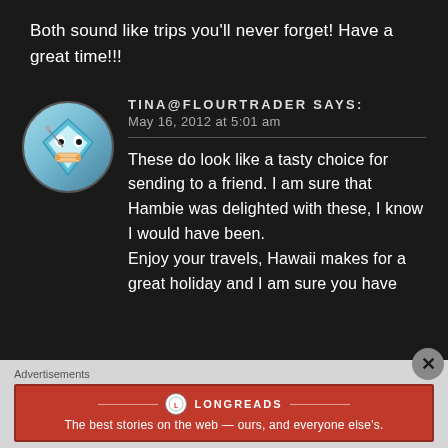Both sound like trips you'll never forget! Have a great time!!!
TINA@FLOURTRADER says:
May 16, 2012 at 5:01 am
These do look like a tasty choice for sending to a friend. I am sure that Hambie was delighted with these, I know I would have been.
Enjoy your travels, Hawaii makes for a great holiday and I am sure you have
[Figure (illustration): Avatar icon: cartoon diamond/gem shape with eyes and bandage on a teal/blue circular background]
Advertisements
[Figure (other): Longreads advertisement banner: red background with Longreads logo and tagline 'The best stories on the web — ours, and everyone else's.']